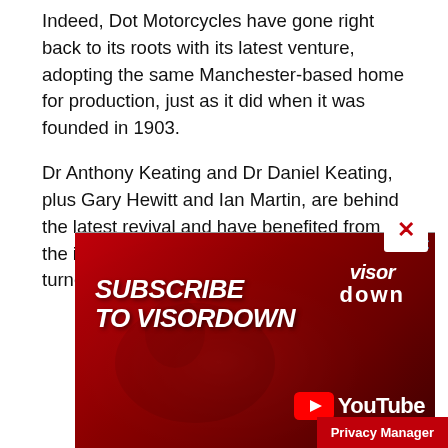Indeed, Dot Motorcycles have gone right back to its roots with its latest venture, adopting the same Manchester-based home for production, just as it did when it was founded in 1903.
Dr Anthony Keating and Dr Daniel Keating, plus Gary Hewitt and Ian Martin, are behind the latest revival and have benefited from the input of TT and road racing favourite turned T
[Figure (screenshot): Advertisement banner for Visordown YouTube channel with red background, motorcyclist image, text 'SUBSCRIBE TO VISORDOWN' and YouTube logo. Has a close (X) button and a Privacy Manager button.]